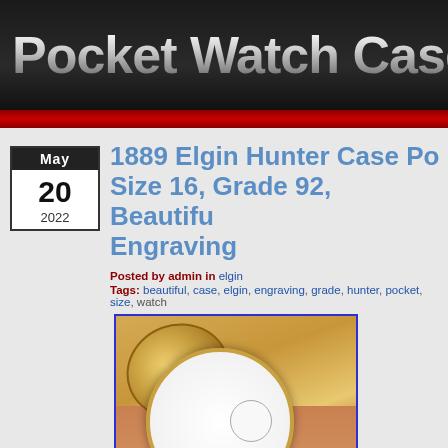Pocket Watch Case
1889 Elgin Hunter Case Po... Size 16, Grade 92, Beautifu... Engraving
Posted by admin in elgin
Tags: beautiful, case, elgin, engraving, grade, hunter, pocket, size, watch
[Figure (photo): A gold pocket watch open on a hand, showing white dial with subdial, and the open gold hunter case lid behind it]